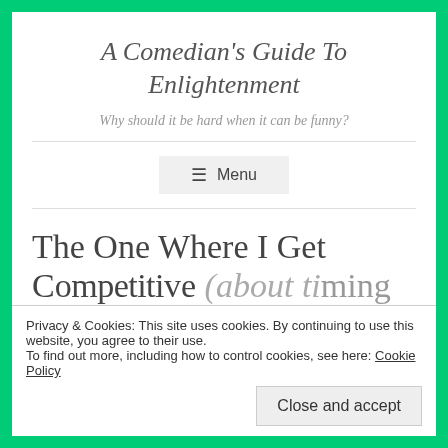A Comedian's Guide To Enlightenment
Why should it be hard when it can be funny?
≡ Menu
The One Where I Get Competitive (about timing and...
Privacy & Cookies: This site uses cookies. By continuing to use this website, you agree to their use. To find out more, including how to control cookies, see here: Cookie Policy
Close and accept